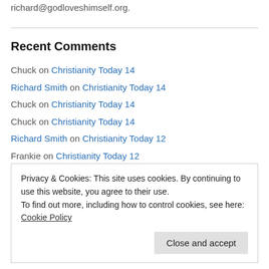richard@godloveshimself.org.
Recent Comments
Chuck on Christianity Today 14
Richard Smith on Christianity Today 14
Chuck on Christianity Today 14
Chuck on Christianity Today 14
Richard Smith on Christianity Today 12
Frankie on Christianity Today 12
Eddie Harper on Understanding Grace 1
Richard Smith on Not So Random Thoughts 37
Cafezza France on Not So Random Thoughts 37
Privacy & Cookies: This site uses cookies. By continuing to use this website, you agree to their use. To find out more, including how to control cookies, see here: Cookie Policy
Close and accept